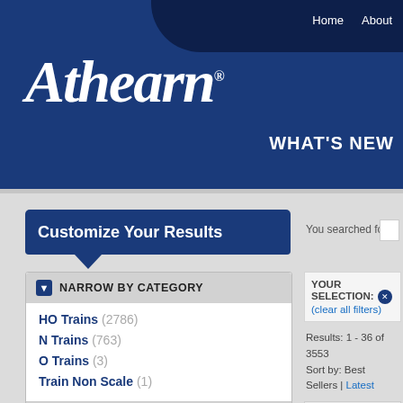Home  About  WHAT'S NEW
[Figure (logo): Athearn logo in white italic script on dark blue background]
Customize Your Results
You searched for:
NARROW BY CATEGORY
HO Trains (2786)
N Trains (763)
O Trains (3)
Train Non Scale (1)
NARROW BY AVAILABILITY
In Stock
New Announcements
YOUR SELECTION: (clear all filters)
Results: 1 - 36 of 3553
Sort by: Best Sellers | Latest
[Figure (photo): Small thumbnail image of a green and gold model train locomotive]